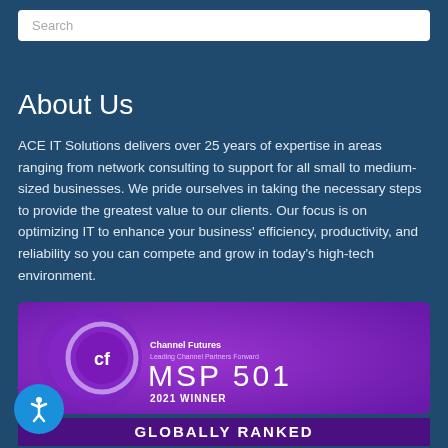Search
About Us
ACE IT Solutions delivers over 25 years of expertise in areas ranging from network consulting to support for all small to medium-sized businesses. We pride ourselves in taking the necessary steps to provide the greatest value to our clients. Our focus is on optimizing IT to enhance your business’ efficiency, productivity, and reliability so you can compete and grow in today’s high-tech environment.
[Figure (logo): Channel Futures CF logo badge with MSP 501 2021 Winner text on purple background]
GLOBALLY RANKED